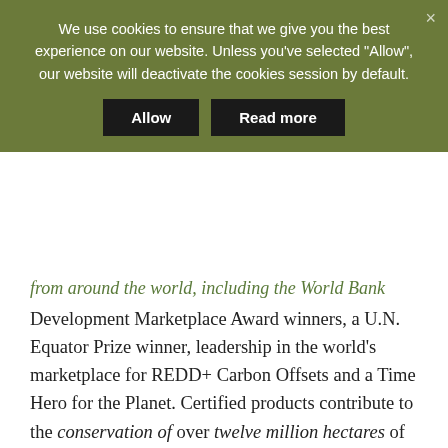We use cookies to ensure that we give you the best experience on our website. Unless you've selected "Allow", our website will deactivate the cookies session by default.
Allow   Read more
from around the world, including the World Bank Development Marketplace Award winners, a U.N. Equator Prize winner, leadership in the world’s marketplace for REDD+ Carbon Offsets and a Time Hero for the Planet. Certified products contribute to the conservation of over twelve million hectares of diverse wetlands, forests, and grasslands; protect keystone endangered species in Asia, Africa, Europe, and the Americas; and benefit over 200,000 people through increased food security, income and employment. For more information visit:
www.wildlifefriendly.org